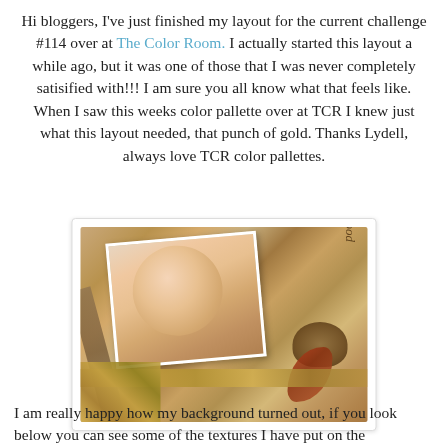Hi bloggers, I've just finished my layout for the current challenge #114 over at The Color Room. I actually started this layout a while ago, but it was one of those that I was never completely satisified with!!! I am sure you all know what that feels like. When I saw this weeks color pallette over at TCR I knew just what this layout needed, that punch of gold. Thanks Lydell, always love TCR color pallettes.
[Figure (photo): A scrapbook layout featuring a smiling child's photo on a warm autumn-toned background with gold strips, a bird's nest decoration, red leaf, and braided elements. Text 'Life is good' visible on the right side.]
I am really happy how my background turned out, if you look below you can see some of the textures I have put on the